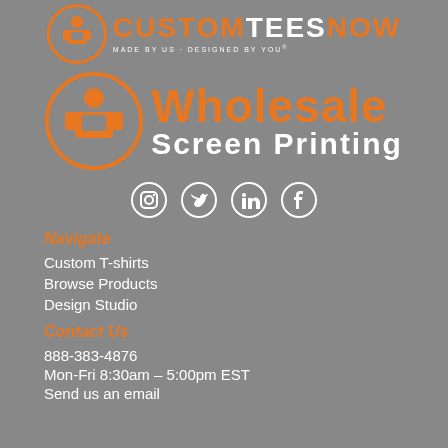[Figure (logo): CustomTeesNow logo with orange circle icon and text 'CUSTOMTEESNOW MADE BY US · DESIGNED BY YOU']
[Figure (logo): Wholesale Screen Printing logo with orange circle icon, orange 'WHOLESALE' text, and white 'SCREEN PRINTING' text]
[Figure (logo): Social media icons: Instagram, Twitter, LinkedIn, Facebook - white circle outlines]
Navigate
Custom T-shirts
Browse Products
Design Studio
Contact Us
888-383-4876
Mon-Fri 8:30am - 5:00pm EST
Send us an email